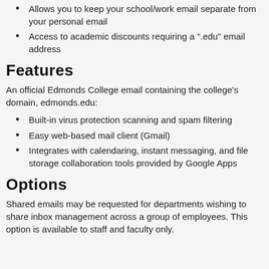Allows you to keep your school/work email separate from your personal email
Access to academic discounts requiring a ".edu" email address
Features
An official Edmonds College email containing the college's domain, edmonds.edu:
Built-in virus protection scanning and spam filtering
Easy web-based mail client (Gmail)
Integrates with calendaring, instant messaging, and file storage collaboration tools provided by Google Apps
Options
Shared emails may be requested for departments wishing to share inbox management across a group of employees. This option is available to staff and faculty only.